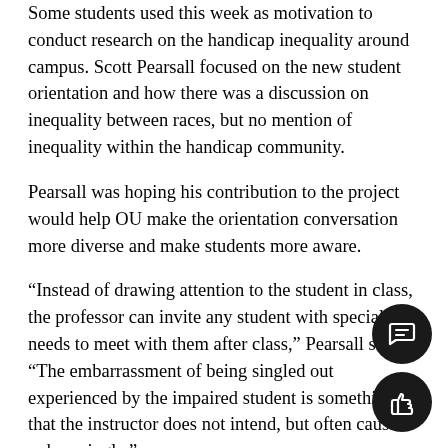Some students used this week as motivation to conduct research on the handicap inequality around campus. Scott Pearsall focused on the new student orientation and how there was a discussion on inequality between races, but no mention of inequality within the handicap community.
Pearsall was hoping his contribution to the project would help OU make the orientation conversation more diverse and make students more aware.
“Instead of drawing attention to the student in class, the professor can invite any student with special needs to meet with them after class,” Pearsall said. “The embarrassment of being singled out experienced by the impaired student is something that the instructor does not intend, but often causes unknowingly.”
Today, Oakland offers some campus accessibility help. There is a snow priority route, that is the first pathway cleared during a snowfall. Also, students in wheelchairs can
[Figure (other): Two floating action buttons on the right side: a dark circular comment/chat icon button and a dark circular thumbs-up icon button.]